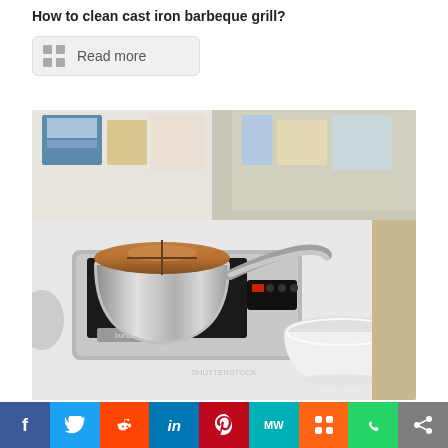How to clean cast iron barbeque grill?
[Figure (photo): A stainless steel saucepan with lid on an induction cooktop (Burton brand), placed on a white surface, with a white bowl nearby and kitchen shelves visible in the background.]
June 25, 2020
Max Burton 6200 for Safer Cooking
f  Twitter  Reddit  in  Pinterest  MW  Mix  WhatsApp  Share